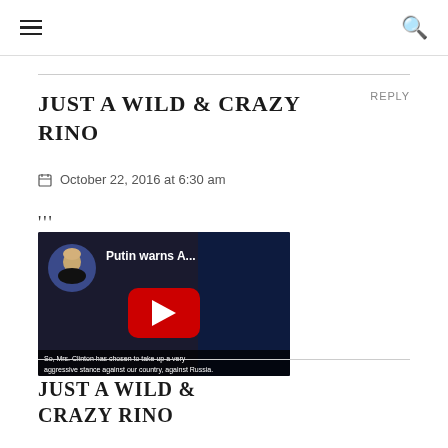≡  🔍
JUST A WILD & CRAZY RINO
REPLY
October 22, 2016 at 6:30 am
'''
[Figure (screenshot): YouTube video thumbnail showing a blonde woman and title 'Putin warns A...' with a red play button. Caption at bottom reads: 'So, Mrs. Clinton has chosen to take up a very aggressive stance against our country, against Russia.']
JUST A WILD & CRAZY RINO